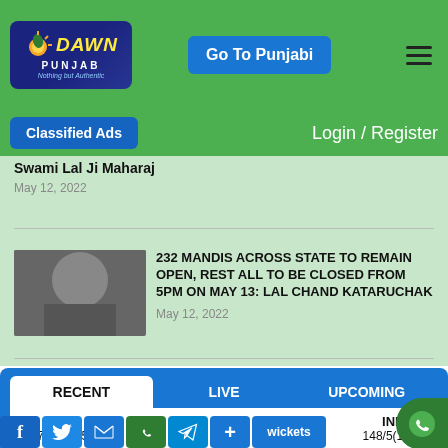Dawn Punjab — Nothing but Authentic | Go To Punjabi | Hamburger menu
Classified Ads
Login / Register
Swami Lal Ji Maharaj
May 12, 2022
232 MANDIS ACROSS STATE TO REMAIN OPEN, REST ALL TO BE CLOSED FROM 5PM ON MAY 13: LAL CHAND KATARUCHAK
May 12, 2022
RECENT | LIVE | UPCOMING
PAK vs IND
147/10(19.5) — 148/5(19.4)
wickets